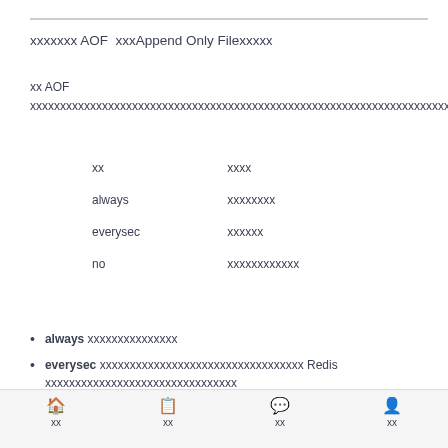xxxxxxx AOF xxx Append Only File xxxxx
xx AOF xxxxxxxxxxxxxxxxxxxxxxxxxxxxxxxxxxxxxxxxxxxxxxxxxxxxxxxxxxxxxxxxxxxxxxxxxxxxxxxxxxxxxxxxxxxxxxxxxxxxxxxxxxxxxxxx
| xx | xxxx |
| --- | --- |
| always | xxxxxxxx |
| everysec | xxxxxx |
| no | xxxxxxxxxxxx |
always xxxxxxxxxxxxxxx
everysec xxxxxxxxxxxxxxxxxxxxxxxxxxxxxxxx Redis xxxxxxxxxxxxxxxxx xxxxxxxx
no xxxxxxxxxxxxxxxxxxxxxxxxxxxxxxxxxxxxxx
xx  xx  xx  xx